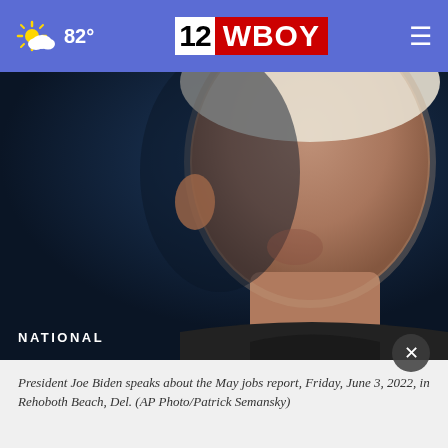82° | 12WBOY
[Figure (photo): Close-up photo of President Joe Biden's face against a dark blue background]
NATIONAL
Biden affirms human rights commitment as he warms to Saudis
President Joe Biden speaks about the May jobs report, Friday, June 3, 2022, in Rehoboth Beach, Del. (AP Photo/Patrick Semansky)